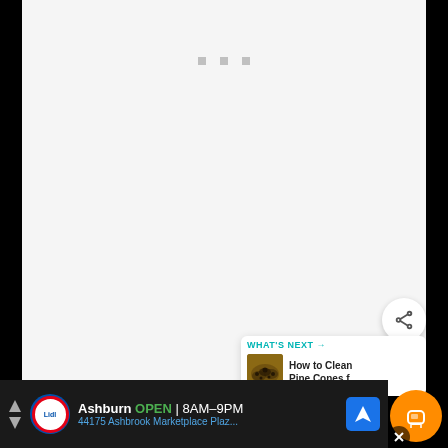[Figure (screenshot): Main content area with light gray background and three small gray squares near top center, representing a loading or placeholder state]
[Figure (other): Share button - circular white button with share icon (a node with arrows)]
[Figure (other): What's Next card showing a thumbnail of pine cones with text 'WHAT'S NEXT → How to Clean Pine Cones f...']
[Figure (other): Ko-fi orange circular button with coffee cup icon, partially overlapped by an X dismiss button]
WHAT'S NEXT → How to Clean Pine Cones f...
Ashburn OPEN | 8AM–9PM 44175 Ashbrook Marketplace Plaz...